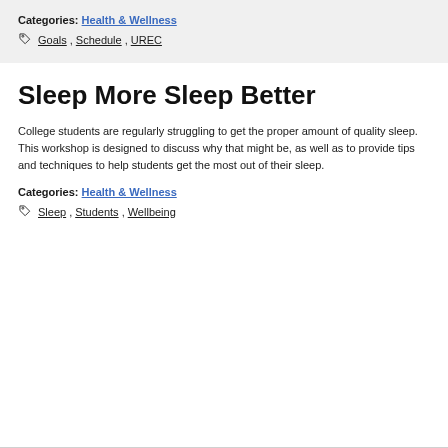Categories: Health & Wellness
Goals, Schedule, UREC
Sleep More Sleep Better
College students are regularly struggling to get the proper amount of quality sleep. This workshop is designed to discuss why that might be, as well as to provide tips and techniques to help students get the most out of their sleep.
Categories: Health & Wellness
Sleep, Students, Wellbeing